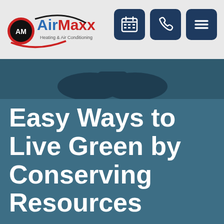AirMaxx Heating & Air Conditioning — navigation header with logo and icons
[Figure (logo): AirMaxx Heating & Air Conditioning logo with red and black circular emblem and brand name]
[Figure (illustration): Dark teal hero banner with faint silhouette of AC unit at top]
Easy Ways to Live Green by Conserving Resources